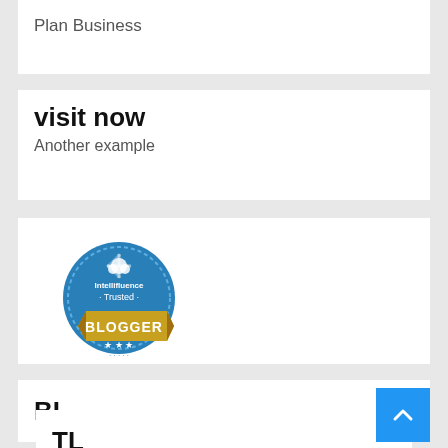Plan Business
visit now
Another example
[Figure (logo): Intellifluence Trusted Blogger badge — circular blue badge with cloud/snowflake icon and 'Trusted' text, gold banner with 'BLOGGER' text and stars]
BL
TL